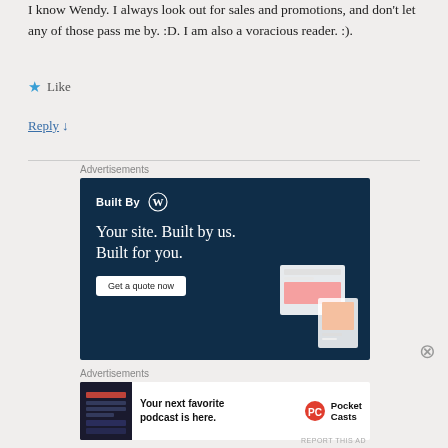I know Wendy. I always look out for sales and promotions, and don't let any of those pass me by. :D. I am also a voracious reader. :).
Like
Reply ↓
Advertisements
[Figure (illustration): WordPress 'Built By' advertisement banner: dark navy background with white text 'Built By [WordPress logo]', large text 'Your site. Built by us. Built for you.', white 'Get a quote now' button, and fashion website mockup images on the right.]
Advertisements
[Figure (illustration): Pocket Casts podcast advertisement: white banner with dark phone app screenshot on left, bold text 'Your next favorite podcast is here.', and Pocket Casts logo on the right.]